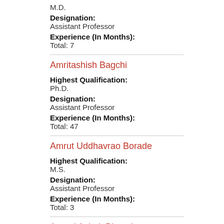M.D.
Designation: Assistant Professor
Experience (In Months): Total: 7
Amritashish Bagchi
Highest Qualification: Ph.D.
Designation: Assistant Professor
Experience (In Months): Total: 47
Amrut Uddhavrao Borade
Highest Qualification: M.S.
Designation: Assistant Professor
Experience (In Months): Total: 3
Anand Ashok Bhosale